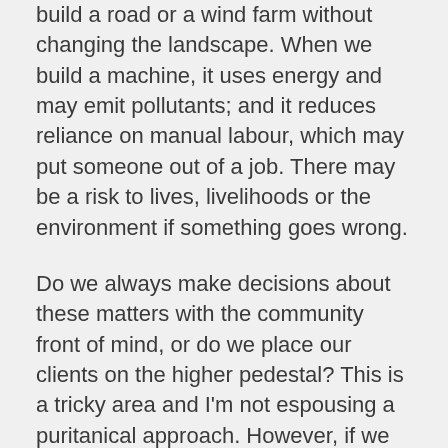build a road or a wind farm without changing the landscape. When we build a machine, it uses energy and may emit pollutants; and it reduces reliance on manual labour, which may put someone out of a job. There may be a risk to lives, livelihoods or the environment if something goes wrong.
Do we always make decisions about these matters with the community front of mind, or do we place our clients on the higher pedestal? This is a tricky area and I'm not espousing a puritanical approach. However, if we knew in 1919 what we know now about lead poisoning, acid rain, greenhouse gases, scarcity and general sustainability principles, what different choices could have been made?
In a time of automation, we need to think about benefits and risks and how they affect our communities. On one occasion early in my career, I designed a controller to turn on and off a couple of